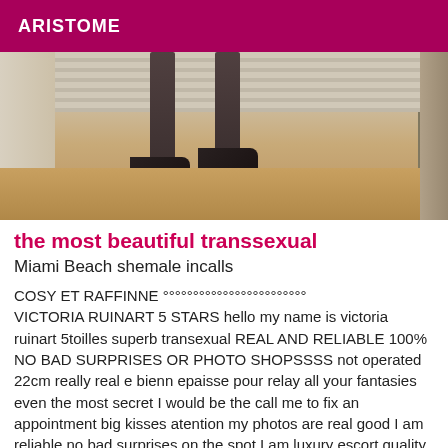ARISTOME
[Figure (photo): Photo showing legs in black stockings and high-heeled shoes on a wooden floor]
the most beautiful transsexual
Miami Beach shemale incalls
COSY ET RAFFINNE °°°°°°°°°°°°°°°°°°°°°°°° VICTORIA RUINART 5 STARS hello my name is victoria ruinart 5toilles superb transexual REAL AND RELIABLE 100% NO BAD SURPRISES OR PHOTO SHOPSSSS not operated 22cm really real e bienn epaisse pour relay all your fantasies even the most secret I would be the call me to fix an appointment big kisses atention my photos are real good I am reliable no bad surprises on the spot I am luxury escort quality it is my preference for